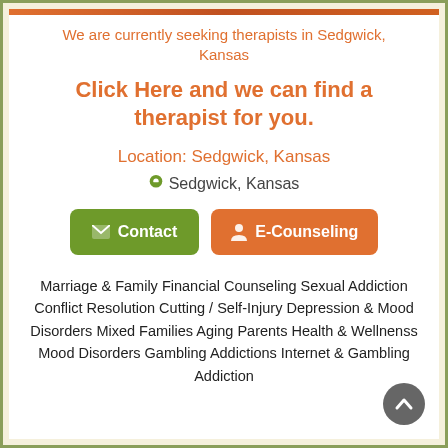We are currently seeking therapists in Sedgwick, Kansas
Click Here and we can find a therapist for you.
Location: Sedgwick, Kansas
📍 Sedgwick, Kansas
[Figure (infographic): Two buttons: a green 'Contact' button with an envelope icon, and an orange 'E-Counseling' button with a person icon]
Marriage & Family Financial Counseling Sexual Addiction Conflict Resolution Cutting / Self-Injury Depression & Mood Disorders Mixed Families Aging Parents Health & Wellnenss Mood Disorders Gambling Addictions Internet & Gambling Addiction